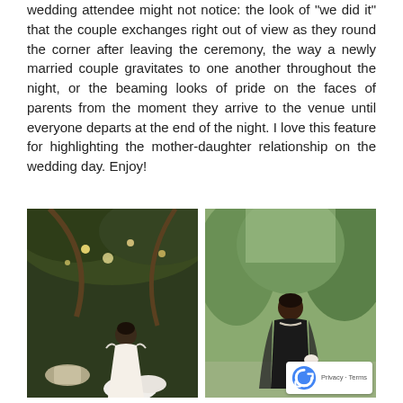wedding attendee might not notice: the look of "we did it" that the couple exchanges right out of view as they round the corner after leaving the ceremony, the way a newly married couple gravitates to one another throughout the night, or the beaming looks of pride on the faces of parents from the moment they arrive to the venue until everyone departs at the end of the night. I love this feature for highlighting the mother-daughter relationship on the wedding day. Enjoy!
[Figure (photo): A bride in a white off-shoulder wedding gown standing outdoors among lush greenery with fairy lights and floral decorations]
[Figure (photo): A woman in a black cape dress with a wrist corsage standing outdoors in front of green trees]